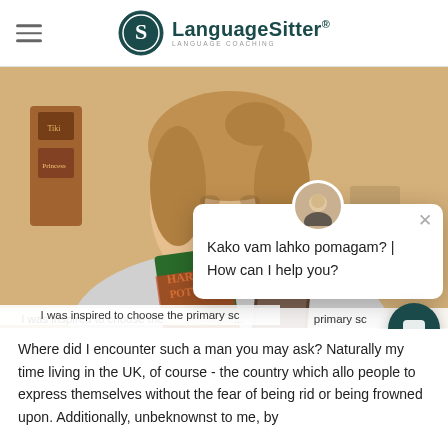LanguageSitter® — LANGUAGE COACHING
[Figure (photo): Young woman holding Harry Potter books and smiling at the camera, selfie-style photo]
I was inspired to choose the primary sc
[Figure (screenshot): Chat widget overlay showing 'Kako vam lahko pomagam? | How can I help you?' with a female avatar and close button]
Where did I encounter such a man you may ask? Naturally my time living in the UK, of course - the country which allo people to express themselves without the fear of being rid or being frowned upon. Additionally, unbeknownst to me, by